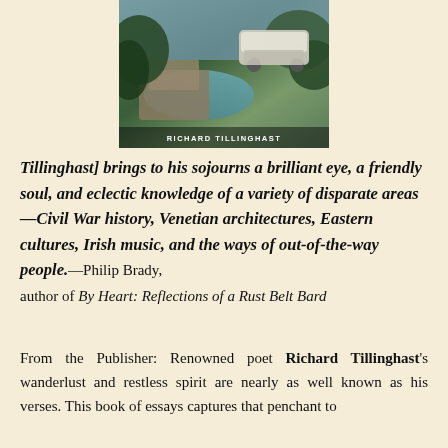[Figure (photo): Book cover image showing outdoor scene with greenery and a train or vehicle, with text 'RICHARD TILLINGHAST' at the bottom]
Tillinghast] brings to his sojourns a brilliant eye, a friendly soul, and eclectic knowledge of a variety of disparate areas—Civil War history, Venetian architectures, Eastern cultures, Irish music, and the ways of out-of-the-way people.—Philip Brady, author of By Heart: Reflections of a Rust Belt Bard
From the Publisher: Renowned poet Richard Tillinghast's wanderlust and restless spirit are nearly as well known as his verses. This book of essays captures that penchant to